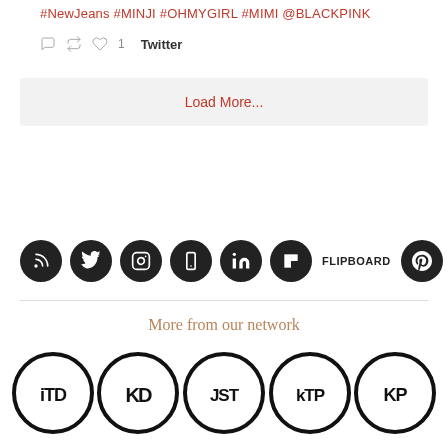#NewJeans #MINJI #OHMYGIRL #MIMI @BLACKPINK
1  Twitter
Load More...
[Figure (infographic): Row of social media icons (RSS, Twitter, Instagram, phone/mobile, LinkedIn, Flipboard text label, Pinterest) as white icons on dark circles]
More from our network
[Figure (infographic): Five circular logos: iTD, KD (diamond), JST, kTP, KP - black circle outlines with stylized text logos inside]